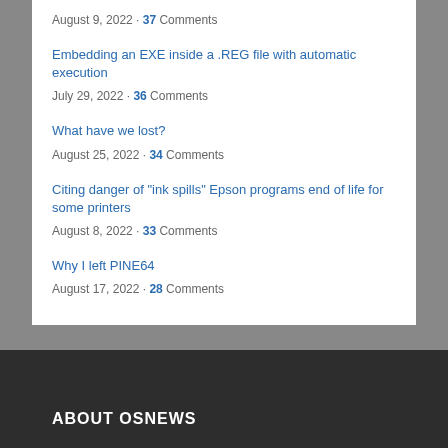August 9, 2022 • 37 Comments
Embedding an EXE inside a .REG file with automatic execution
July 29, 2022 • 36 Comments
What have we lost?
August 25, 2022 • 34 Comments
Citing danger of “ink spills” Epson programs end of life for some printers
August 8, 2022 • 33 Comments
Why I left PINE64
August 17, 2022 • 28 Comments
ABOUT OSNEWS